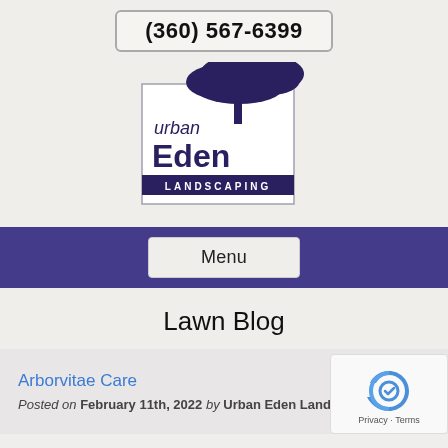(360) 567-6399
[Figure (logo): Urban Eden Landscaping logo: stylized tree above text 'urban Eden LANDSCAPING' in dark navy/purple, inside a rectangular border]
Menu
Lawn Blog
Arborvitae Care
Posted on February 11th, 2022 by Urban Eden Landscaping